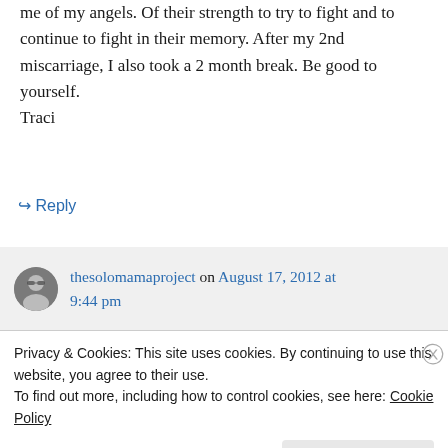me of my angels. Of their strength to try to fight and to continue to fight in their memory. After my 2nd miscarriage, I also took a 2 month break. Be good to yourself.
Traci
↳ Reply
thesolomamaproject on August 17, 2012 at 9:44 pm
Privacy & Cookies: This site uses cookies. By continuing to use this website, you agree to their use.
To find out more, including how to control cookies, see here: Cookie Policy
Close and accept